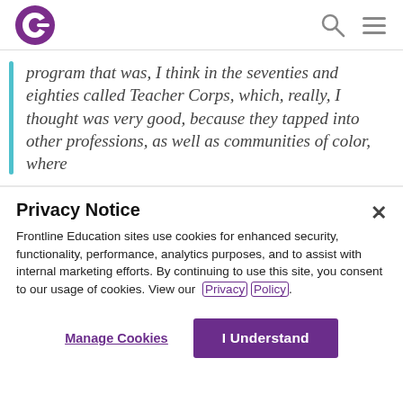Frontline Education logo, search icon, menu icon
program that was, I think in the seventies and eighties called Teacher Corps, which, really, I thought was very good, because they tapped into other professions, as well as communities of color, where
Privacy Notice
Frontline Education sites use cookies for enhanced security, functionality, performance, analytics purposes, and to assist with internal marketing efforts. By continuing to use this site, you consent to our usage of cookies. View our Privacy Policy.
Manage Cookies
I Understand